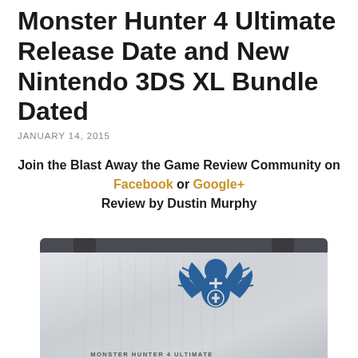Monster Hunter 4 Ultimate Release Date and New Nintendo 3DS XL Bundle Dated
JANUARY 14, 2015
Join the Blast Away the Game Review Community on Facebook or Google+
Review by Dustin Murphy
[Figure (photo): Monster Hunter 4 Ultimate branded New Nintendo 3DS XL console showing the back/lid with fur texture and a blue winged creature logo, text reads MONSTER HUNTER 4 ULTIMATE]